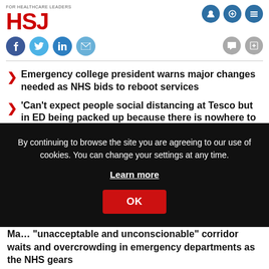HSJ - FOR HEALTHCARE LEADERS
Emergency college president warns major changes needed as NHS bids to reboot services
'Can't expect people social distancing at Tesco but in ED being packed up because there is nowhere to sit'
By continuing to browse the site you are agreeing to our use of cookies. You can change your settings at any time. Learn more OK
Ma… “unacceptable and unconscionable” corridor waits and overcrowding in emergency departments as the NHS gears